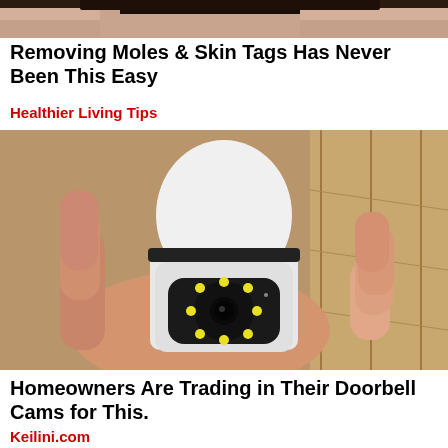[Figure (photo): Partial photo of a person's face/shoulder at the top of the page, cropped]
Removing Moles & Skin Tags Has Never Been This Easy
Healthier Living Tips
[Figure (photo): A hand holding a small white security camera shaped like a light bulb with multiple LED lights and a lens]
Homeowners Are Trading in Their Doorbell Cams for This.
Keilini.com